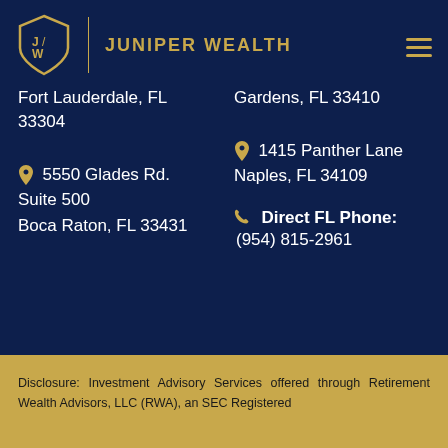[Figure (logo): Juniper Wealth shield logo with J/W monogram and brand name 'JUNIPER WEALTH' in gold]
Fort Lauderdale, FL 33304
Gardens, FL 33410
5550 Glades Rd. Suite 500 Boca Raton, FL 33431
1415 Panther Lane Naples, FL 34109
Direct FL Phone: (954) 815-2961
Disclosure: Investment Advisory Services offered through Retirement Wealth Advisors, LLC (RWA), an SEC Registered